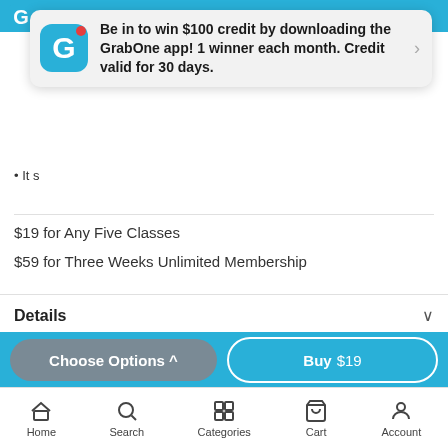[Figure (screenshot): GrabOne app notification popup with icon, promotional text, and arrow]
Be in to win $100 credit by downloading the GrabOne app! 1 winner each month. Credit valid for 30 days.
It s...
$19 for Any Five Classes
$59 for Three Weeks Unlimited Membership
Details
Classes:
PULSE – Bored of the same old HIIT workout?! This jam packed session includes both spin bike sets and high intensity
Choose Options ^
Buy $19
Home  Search  Categories  Cart  Account